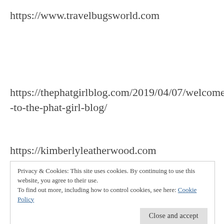https://www.travelbugsworld.com
https://thephatgirlblog.com/2019/04/07/welcome-to-the-phat-girl-blog/
https://kimberlyleatherwood.com
Privacy & Cookies: This site uses cookies. By continuing to use this website, you agree to their use. To find out more, including how to control cookies, see here: Cookie Policy
Close and accept